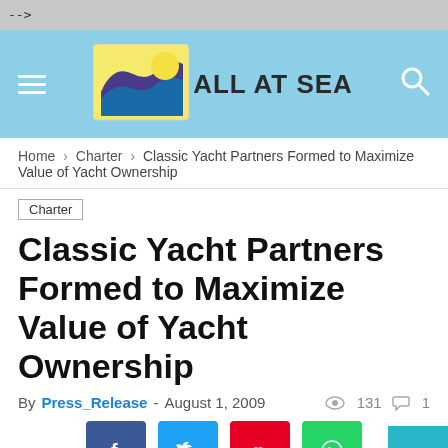-->
[Figure (logo): All At Sea website header with wave logo and site name 'ALL AT SEA', hamburger menu icon on left, search icon on right, light blue background]
Home › Charter › Classic Yacht Partners Formed to Maximize Value of Yacht Ownership
Charter
Classic Yacht Partners Formed to Maximize Value of Yacht Ownership
By Press_Release - August 1, 2009  131  1
[Figure (infographic): Social share buttons: Facebook (blue), Twitter (light blue), Pinterest (red), WhatsApp (green)]
On August 5, 2009 a contract was signed between Alex Suarez, Managing Partner of CLASSIC YACHT PARTNERS, and Trumpy®Yachts, LLC, to build two new dramatic Trumpy